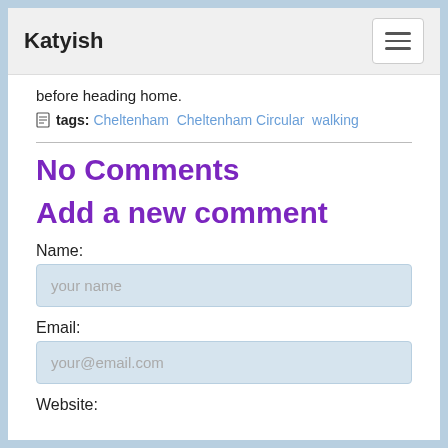Katyish
before heading home.
tags: Cheltenham Cheltenham Circular walking
No Comments
Add a new comment
Name:
your name
Email:
your@email.com
Website: